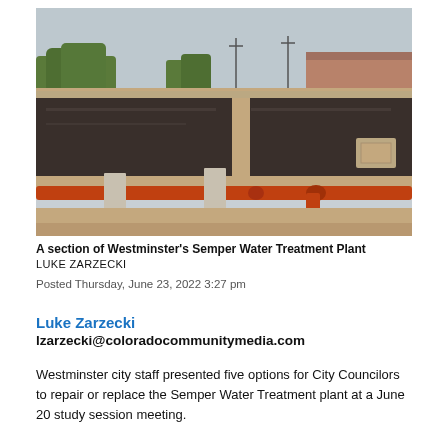[Figure (photo): Aerial view of a water treatment plant facility showing open settling basins with dark water and orange pipes/railings in the foreground, trees and buildings in the background under an overcast sky.]
A section of Westminster's Semper Water Treatment Plant
LUKE ZARZECKI
Posted Thursday, June 23, 2022 3:27 pm
Luke Zarzecki
lzarzecki@coloradocommunitymedia.com
Westminster city staff presented five options for City Councilors to repair or replace the Semper Water Treatment plant at a June 20 study session meeting.